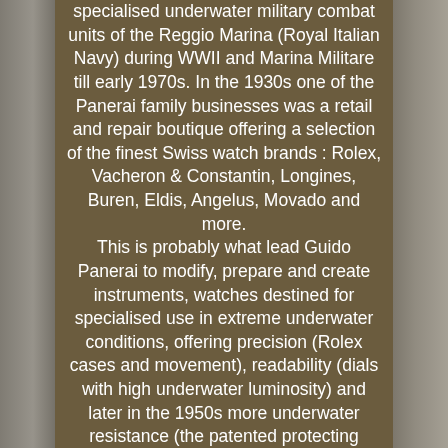specialised underwater military combat units of the Reggio Marina (Royal Italian Navy) during WWII and Marina Militare till early 1970s. In the 1930s one of the Panerai family businesses was a retail and repair boutique offering a selection of the finest Swiss watch brands : Rolex, Vacheron & Constantin, Longines, Buren, Eldis, Angelus, Movado and more.
This is probably what lead Guido Panerai to modify, prepare and create instruments, watches destined for specialised use in extreme underwater conditions, offering precision (Rolex cases and movement), readability (dials with high underwater luminosity) and later in the 1950s more underwater resistance (the patented protecting crown device). Here is one of the known first rare ancestor of the current Officine Panerai RADIOMIR, A 1930s ROLEX 3646